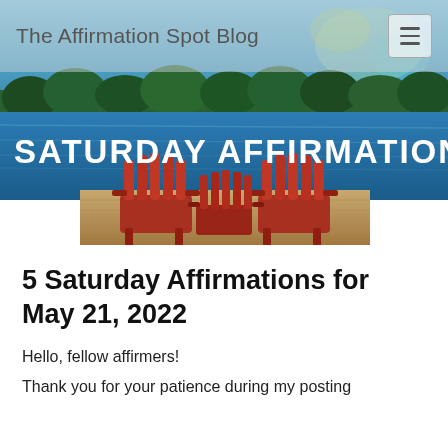The Affirmation Spot Blog
[Figure (photo): Outdoor lake scene with two red Adirondack chairs on a wooden dock, blue lake water, green forested hills in background, with bold white text overlay reading 'SATURDAY AFFIRMATIONS']
5 Saturday Affirmations for May 21, 2022
Hello, fellow affirmers!
Thank you for your patience during my posting